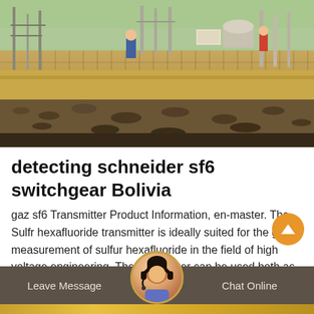[Figure (photo): Outdoor industrial/electrical substation construction site with workers, equipment, pipes and gravel ground, green vegetation in background sky]
detecting schneider sf6 switchgear Bolivia
gaz sf6 Transmitter Product Information, en-master. The Sulfr hexafluoride transmitter is ideally suited for the gas measurement of sulfur hexafluoride in the field of high voltage engineering. The transmitter can be used both as a gas leak detector and to monitor the gas quality in gas-insulated switchgear (GIS) or transformers. Download.
Leave Message   Chat Online